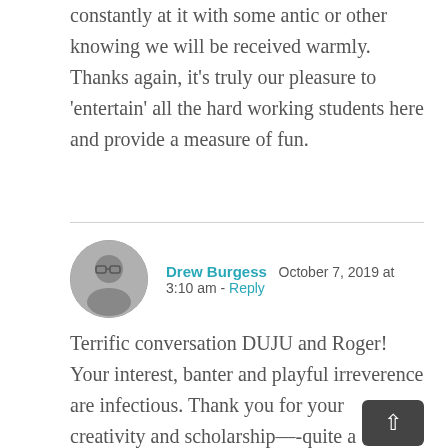constantly at it with some antic or other knowing we will be received warmly. Thanks again, it's truly our pleasure to 'entertain' all the hard working students here and provide a measure of fun.
Drew Burgess  October 7, 2019 at 3:10 am - Reply
Terrific conversation DUJU and Roger! Your interest, banter and playful irreverence are infectious. Thank you for your creativity and scholarship—-quite a package. As for the attention to the posts I think folks appreciate the study and catch as they